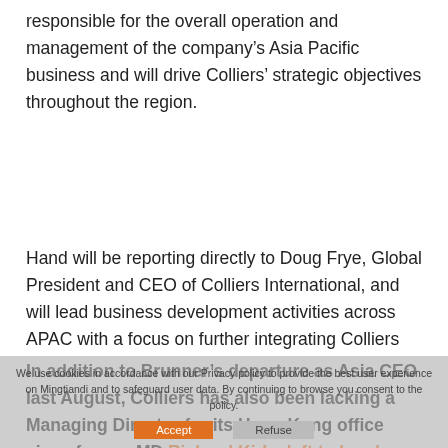responsible for the overall operation and management of the company's Asia Pacific business and will drive Colliers' strategic objectives throughout the region.
Hand will be reporting directly to Doug Frye, Global President and CEO of Colliers International, and will lead business development activities across APAC with a focus on further integrating Colliers services across geographic markets and industry verticals, the company said in a statement.
In addition to Brunner's departure as Asia CEO last August, Colliers has also been lacking a Managing Director for its Hong Kong office since former MD Richard Kirke left to head CBRE's